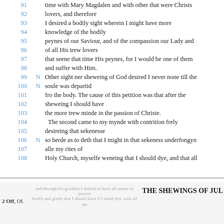91 [line cut off] time with Mary Magdalen and with other that were Christs
92 lovers, and therefore
93 I desired a bodily sight wherein I might have more
94 knowledge of the bodily
95 peynes of our Saviour, and of the compassion our Lady and
96 of all His trew lovers
97 that seene that time His peynes, for I would be one of them
98 and suffer with Him.
99 N Other sight ner sheweing of God desired I never none till the
100 N soule was departid
101 fro the body. The cause of this petition was that after the
102 sheweing I should have
103 the more trew minde in the passion of Christe.
104   The second came to my mynde with contrition frely
105 desireing that sekenesse
106 N so herde as to deth that I might in that sekeness underfongyn
107 alle my rites of
108 Holy Church, myselfe weneing that I should dye, and that all
THE SHEWINGS OF JUL
2 Off, Of.